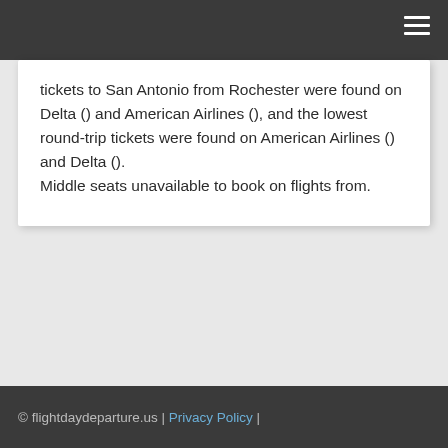tickets to San Antonio from Rochester were found on Delta () and American Airlines (), and the lowest round-trip tickets were found on American Airlines () and Delta ().
Middle seats unavailable to book on flights from.
© flightdaydeparture.us | Privacy Policy |